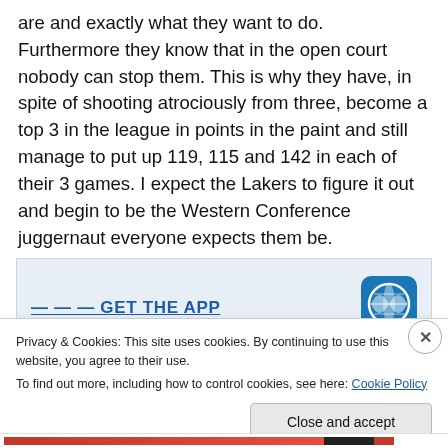are and exactly what they want to do. Furthermore they know that in the open court nobody can stop them. This is why they have, in spite of shooting atrociously from three, become a top 3 in the league in points in the paint and still manage to put up 119, 115 and 142 in each of their 3 games. I expect the Lakers to figure it out and begin to be the Western Conference juggernaut everyone expects them be.
[Figure (screenshot): Partially visible app promotion banner with 'GET THE APP' text in blue and a WordPress logo icon on a light blue/grey background]
Privacy & Cookies: This site uses cookies. By continuing to use this website, you agree to their use.
To find out more, including how to control cookies, see here: Cookie Policy
Close and accept